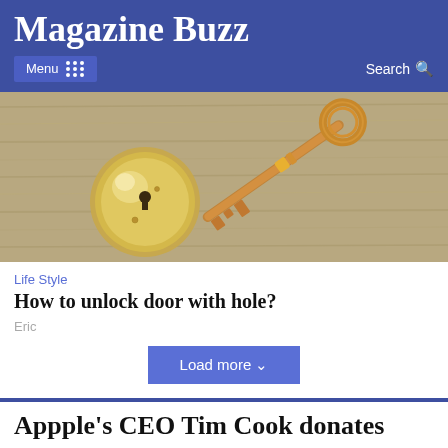Magazine Buzz
Menu   Search
[Figure (photo): A brass door lock escutcheon and a vintage brass skeleton key on a weathered wooden surface]
Life Style
How to unlock door with hole?
Eric
Load more
Appple's CEO Tim Cook donates